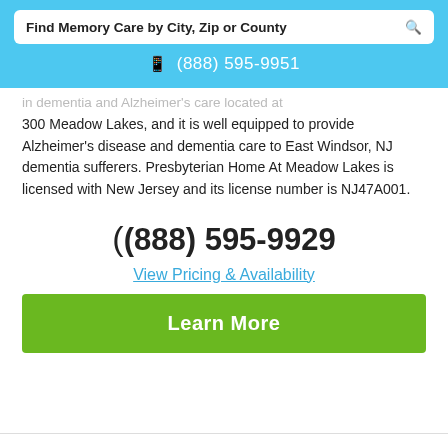Find Memory Care by City, Zip or County
(888) 595-9951
...and Alzheimer's care located at 300 Meadow Lakes, and it is well equipped to provide Alzheimer's disease and dementia care to East Windsor, NJ dementia sufferers. Presbyterian Home At Meadow Lakes is licensed with New Jersey and its license number is NJ47A001.
(888) 595-9929
View Pricing & Availability
Learn More